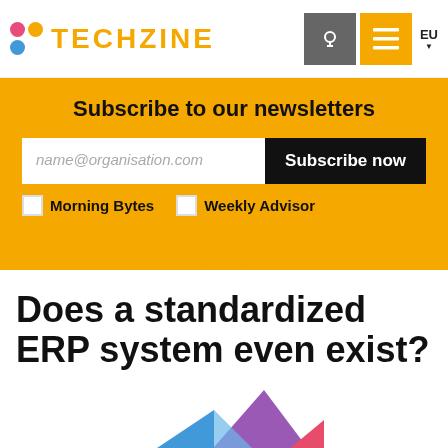TECHZINE
Subscribe to our newsletters
name@organisation.com  Subscribe now
Morning Bytes
Weekly Advisor
Does a standardized ERP system even exist?
[Figure (illustration): Colorful geometric shapes at the bottom of the page]